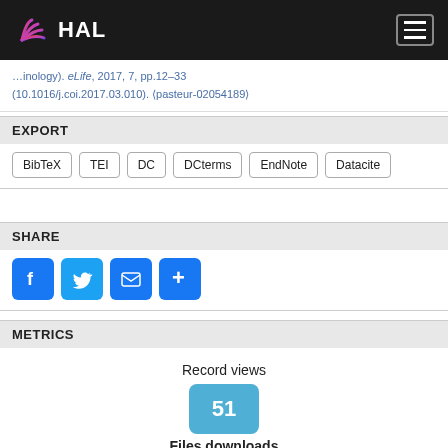HAL
(10.1016/j.coi.2017.03.010). (pasteur-02054189)
EXPORT
BibTeX
TEI
DC
DCterms
EndNote
Datacite
SHARE
[Figure (infographic): Social share icons: Facebook, Twitter, Email, More]
METRICS
Record views
51
Files downloads